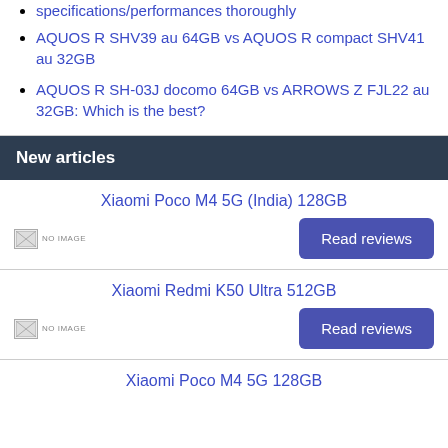specifications/performances thoroughly
AQUOS R SHV39 au 64GB vs AQUOS R compact SHV41 au 32GB
AQUOS R SH-03J docomo 64GB vs ARROWS Z FJL22 au 32GB: Which is the best?
New articles
Xiaomi Poco M4 5G (India) 128GB
[Figure (other): No image placeholder for Xiaomi Poco M4 5G (India) 128GB]
Read reviews
Xiaomi Redmi K50 Ultra 512GB
[Figure (other): No image placeholder for Xiaomi Redmi K50 Ultra 512GB]
Read reviews
Xiaomi Poco M4 5G 128GB